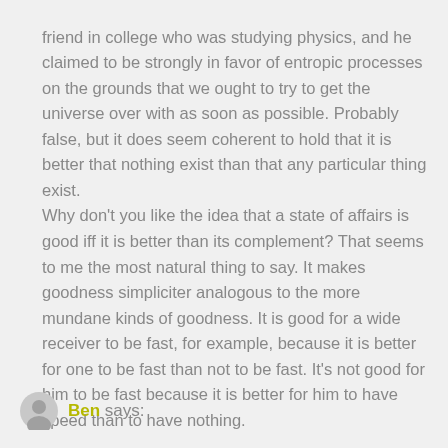friend in college who was studying physics, and he claimed to be strongly in favor of entropic processes on the grounds that we ought to try to get the universe over with as soon as possible. Probably false, but it does seem coherent to hold that it is better that nothing exist than that any particular thing exist. Why don't you like the idea that a state of affairs is good iff it is better than its complement? That seems to me the most natural thing to say. It makes goodness simpliciter analogous to the more mundane kinds of goodness. It is good for a wide receiver to be fast, for example, because it is better for one to be fast than not to be fast. It's not good for him to be fast because it is better for him to have speed than to have nothing.
Ben says: